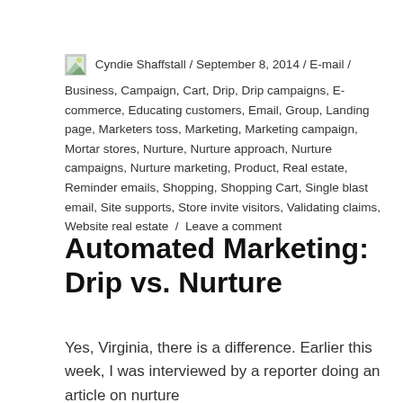Cyndie Shaffstall / September 8, 2014 / E-mail / Business, Campaign, Cart, Drip, Drip campaigns, E-commerce, Educating customers, Email, Group, Landing page, Marketers toss, Marketing, Marketing campaign, Mortar stores, Nurture, Nurture approach, Nurture campaigns, Nurture marketing, Product, Real estate, Reminder emails, Shopping, Shopping Cart, Single blast email, Site supports, Store invite visitors, Validating claims, Website real estate / Leave a comment
Automated Marketing: Drip vs. Nurture
Yes, Virginia, there is a difference. Earlier this week, I was interviewed by a reporter doing an article on nurture